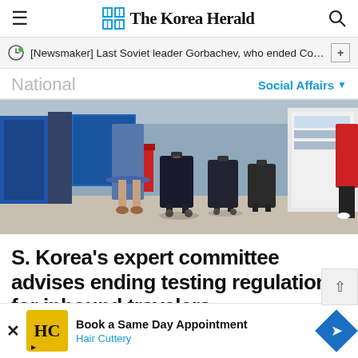The Korea Herald
[Newsmaker] Last Soviet leader Gorbachev, who ended Cold Wa…
National
Social Affairs
[Figure (photo): Airport scene with travelers pulling luggage, shot from behind at low angle showing wheels and legs of travelers with suitcases.]
S. Korea's expert committee advises ending testing regulations for inbound travelers
[Figure (photo): Advertisement thumbnail showing blurred airport or transit scene]
Book a Same Day Appointment Hair Cuttery